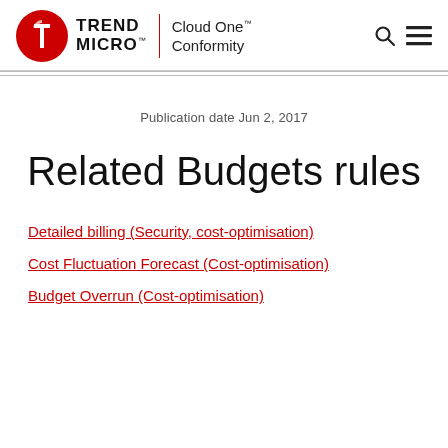[Figure (logo): Trend Micro logo with Cloud One Conformity branding and navigation icons]
Publication date  Jun 2, 2017
Related Budgets rules
Detailed billing (Security, cost-optimisation)
Cost Fluctuation Forecast (Cost-optimisation)
Budget Overrun (Cost-optimisation)